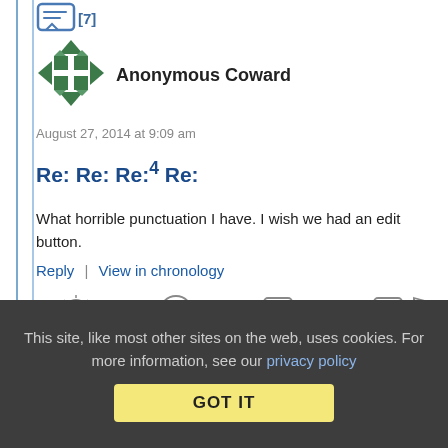[Figure (illustration): Comment chat icon with [7] indicator at top left]
[Figure (illustration): Green geometric avatar icon for Anonymous Coward]
Anonymous Coward
August 27, 2014 at 9:09 am
Re: Re: Re:4 Re:
What horrible punctuation I have. I wish we had an edit button.
Reply | View in chronology
[Figure (illustration): Row of action icons: lightbulb, laughing emoji, quote bubble, quote bubble 2, flag]
This site, like most other sites on the web, uses cookies. For more information, see our privacy policy
GOT IT